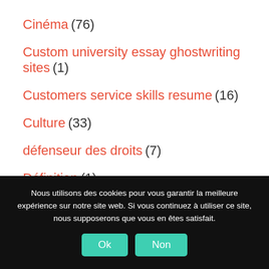Cinéma (76)
Custom university essay ghostwriting sites (1)
Customers service skills resume (16)
Culture (33)
défenseur des droits (7)
Définition (1)
Nous utilisons des cookies pour vous garantir la meilleure expérience sur notre site web. Si vous continuez à utiliser ce site, nous supposerons que vous en êtes satisfait.